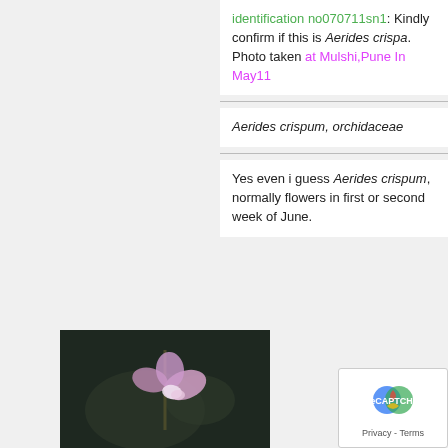identification no070711sn1: Kindly confirm if this is Aerides crispa. Photo taken at Mulshi,Pune In May11
Aerides crispum, orchidaceae
Yes even i guess Aerides crispum, normally flowers in first or second week of June.
[Figure (photo): Close-up photograph of a pale pink/mauve orchid flower (Aerides crispum) on a dark background with bokeh]